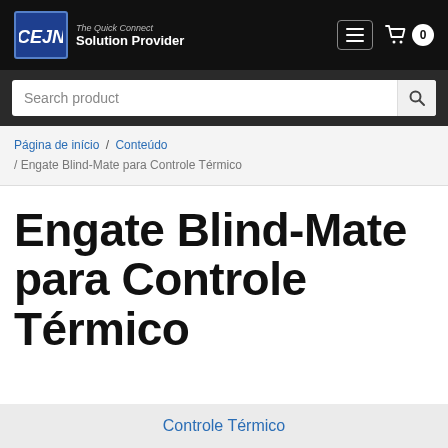CEJN The Quick Connect Solution Provider
Search product
Página de início / Conteúdo / Engate Blind-Mate para Controle Térmico
Engate Blind-Mate para Controle Térmico
Controle Térmico